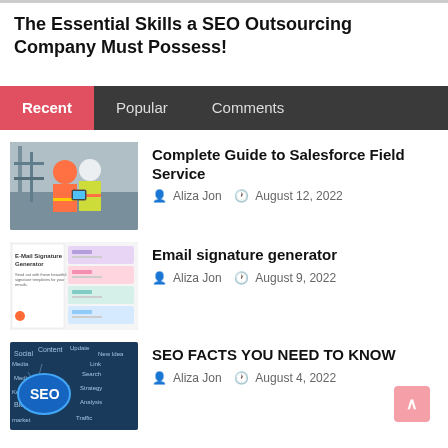The Essential Skills a SEO Outsourcing Company Must Possess!
Recent | Popular | Comments
[Figure (photo): Two construction workers in orange and yellow safety vests and hard hats looking at a tablet on a construction site]
Complete Guide to Salesforce Field Service
Aliza Jon  August 12, 2022
[Figure (screenshot): E-Mail Signature Generator promotional image showing colorful email signature templates]
Email signature generator
Aliza Jon  August 9, 2022
[Figure (illustration): SEO concept illustration with blue chalkboard background showing SEO bubble and related terms like Social Media, Content, Blog, Keywords]
SEO FACTS YOU NEED TO KNOW
Aliza Jon  August 4, 2022